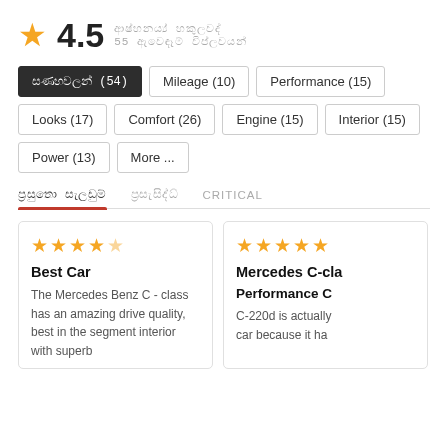★ 4.5  [non-latin text] / 55 [non-latin text]
[non-latin] (54)
Mileage (10)
Performance (15)
Looks (17)
Comfort (26)
Engine (15)
Interior (15)
Power (13)
More ...
[non-latin] [non-latin]  [non-latin]  CRITICAL
Best Car — The Mercedes Benz C - class has an amazing drive quality, best in the segment interior with superb
Mercedes C-class Performance C — C-220d is actually car because it ha